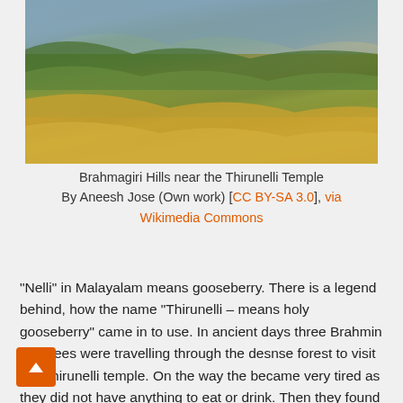[Figure (photo): Landscape photograph of Brahmagiri Hills near the Thirunelli Temple, showing green forested hills and golden-yellow grasslands under a blue sky.]
Brahmagiri Hills near the Thirunelli Temple By Aneesh Jose (Own work) [CC BY-SA 3.0], via Wikimedia Commons
"Nelli" in Malayalam means gooseberry. There is a legend behind, how the name "Thirunelli – means holy gooseberry" came in to use. In ancient days three Brahmin devotees were travelling through the desnse forest to visit the Thirunelli temple. On the way the became very tired as they did not have anything to eat or drink. Then they found a gooseberry tree, standing in the middle